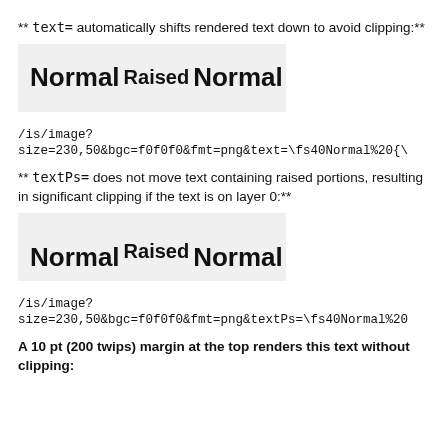** text= automatically shifts rendered text down to avoid clipping:**
[Figure (screenshot): Demo box showing 'Normal Raised Normal' text with raised portion, on grey background]
/is/image?
size=230,50&bgc=f0f0f0&fmt=png&text=\fs40Normal%20{\
** textPs= does not move text containing raised portions, resulting in significant clipping if the text is on layer 0:**
[Figure (screenshot): Demo box showing 'Normal Raised Normal' text clipped at top, on grey background]
/is/image?
size=230,50&bgc=f0f0f0&fmt=png&textPs=\fs40Normal%20
A 10 pt (200 twips) margin at the top renders this text without clipping: